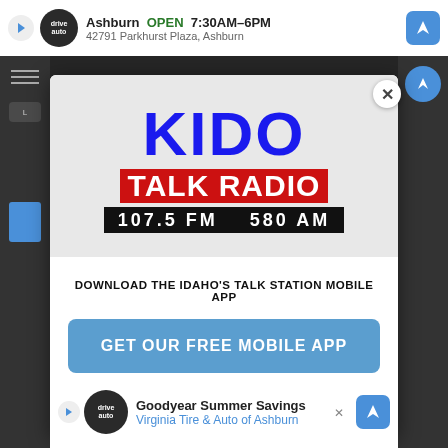[Figure (screenshot): Top bar showing Google Maps / tire shop listing: Ashburn OPEN 7:30AM-6PM, 42791 Parkhurst Plaza, Ashburn]
[Figure (logo): KIDO Talk Radio logo — KIDO in large blue letters, TALK RADIO in red banner, 107.5 FM 580 AM in white on black bar]
DOWNLOAD THE IDAHO'S TALK STATION MOBILE APP
GET OUR FREE MOBILE APP
Also listen on: amazon alexa
[Figure (screenshot): Bottom advertisement bar: Goodyear Summer Savings — Virginia Tire & Auto of Ashburn, with logo and blue navigation arrow]